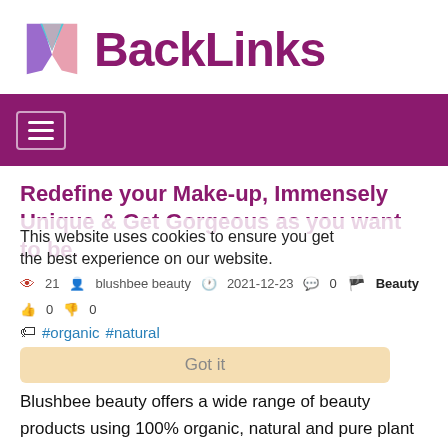[Figure (logo): MBackLinks logo with colorful M icon and purple BackLinks text]
Navigation bar with hamburger menu
Redefine your Make-up, Immensely Unique & Get Gorgeous as you want to be.
This website uses cookies to ensure you get the best experience on our website.
21  blushbee beauty  2021-12-23  0  Beauty  0  0
#organic #natural
Got it
Blushbee beauty offers a wide range of beauty products using 100% organic, natural and pure plant derived products with colors curated for you